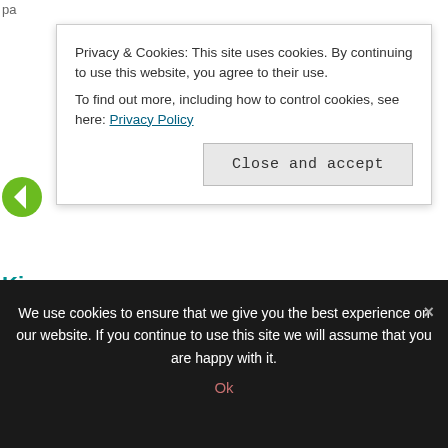pa
Privacy & Cookies: This site uses cookies. By continuing to use this website, you agree to their use.
To find out more, including how to control cookies, see here: Privacy Policy
Close and accept
Ki
Your Child to Read – Classic Housewife
February 3, 2018 11:22 am
[...] Just joining in? Start at the beginning. (It's a very good place to start.) [...]
Reply
[Figure (illustration): Green circle avatar icon with white 'K' letter]
Teaching Reading with Word Families: Ten Days of How
We use cookies to ensure that we give you the best experience on our website. If you continue to use this site we will assume that you are happy with it.
Ok